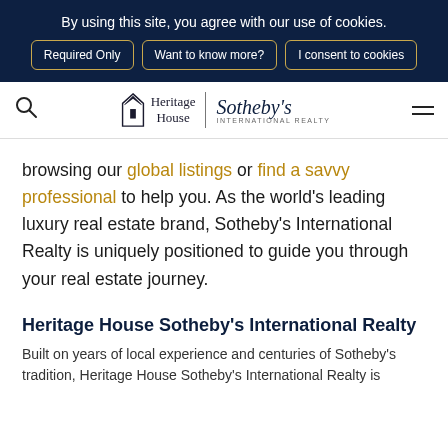By using this site, you agree with our use of cookies.
Required Only | Want to know more? | I consent to cookies
[Figure (logo): Heritage House Sotheby's International Realty logo with navigation bar including search icon and hamburger menu]
browsing our global listings or find a savvy professional to help you. As the world's leading luxury real estate brand, Sotheby's International Realty is uniquely positioned to guide you through your real estate journey.
Heritage House Sotheby's International Realty
Built on years of local experience and centuries of Sotheby's tradition, Heritage House Sotheby's International Realty is